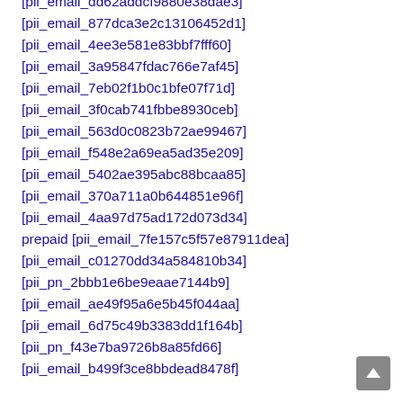[pii_email_dd62addcf9880e38dae3]
[pii_email_877dca3e2c13106452d1]
[pii_email_4ee3e581e83bbf7fff60]
[pii_email_3a95847fdac766e7af45]
[pii_email_7eb02f1b0c1bfe07f71d]
[pii_email_3f0cab741fbbe8930ceb]
[pii_email_563d0c0823b72ae99467]
[pii_email_f548e2a69ea5ad35e209]
[pii_email_5402ae395abc88bcaa85]
[pii_email_370a711a0b644851e96f]
[pii_email_4aa97d75ad172d073d34]
prepaid [pii_email_7fe157c5f57e87911dea]
[pii_email_c01270dd34a584810b34]
[pii_pn_2bbb1e6be9eaae7144b9]
[pii_email_ae49f95a6e5b45f044aa]
[pii_email_6d75c49b3383dd1f164b]
[pii_pn_f43e7ba9726b8a85fd66]
[pii_email_b499f3ce8bbdead8478f]